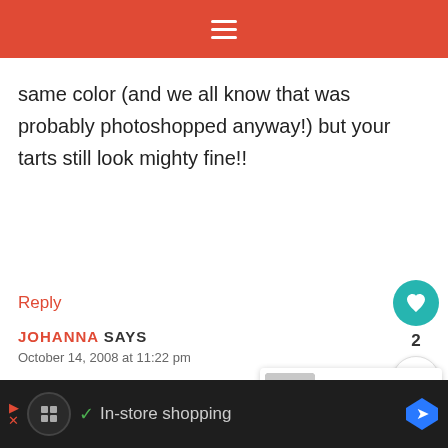≡
same color (and we all know that was probably photoshopped anyway!) but your tarts still look mighty fine!!
Reply
JOHANNA SAYS
October 14, 2008 at 11:22 pm
ah I feel with you! so much effort goes into
WHAT'S NEXT → Goodbye dear friend...
✓ In-store shopping